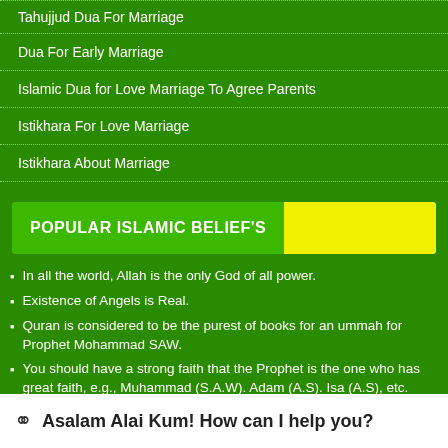Tahujjud Dua For Marriage
Dua For Early Marriage
Islamic Dua for Love Marriage To Agree Parents
Istikhara For Love Marriage
Istikhara About Marriage
POPULAR ISLAMIC BELIEF'S
In all the world, Allah is the only God of all power.
Existence of Angels is Real.
Quran is considered to be the purest of books for an ummah for Prophet Mohammad SAW.
You should have a strong faith that the Prophet is the one who has great faith, e.g., Muhammad (S.A.W). Adam (A.S). Isa (A.S), etc.
You should have firm faith in the reality of qayamat that is, the last day of judgement.
Asalam Alai Kum! How can I help you?